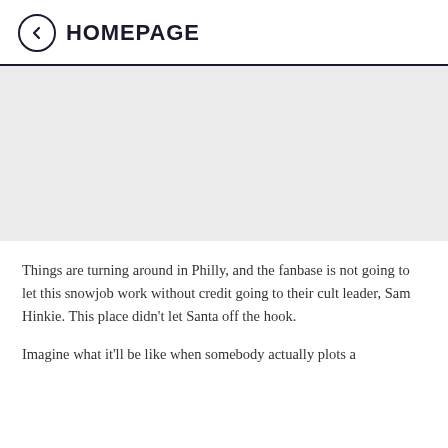HOMEPAGE
[Figure (photo): Large image placeholder area with light gray background]
Things are turning around in Philly, and the fanbase is not going to let this snowjob work without credit going to their cult leader, Sam Hinkie. This place didn't let Santa off the hook.
Imagine what it'll be like when somebody actually plots a